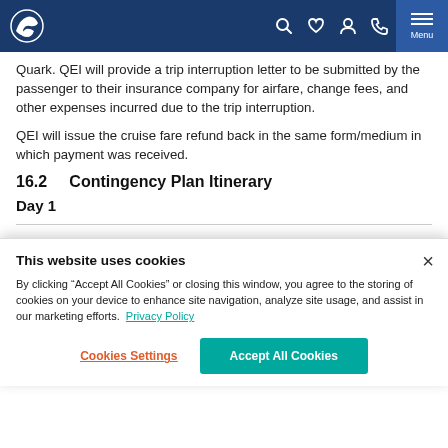Quark Expeditions navigation bar
Quark. QEI will provide a trip interruption letter to be submitted by the passenger to their insurance company for airfare, change fees, and other expenses incurred due to the trip interruption.
QEI will issue the cruise fare refund back in the same form/medium in which payment was received.
16.2      Contingency Plan Itinerary
Day 1
This website uses cookies
By clicking “Accept All Cookies” or closing this window, you agree to the storing of cookies on your device to enhance site navigation, analyze site usage, and assist in our marketing efforts. Privacy Policy
Cookies Settings
Accept All Cookies